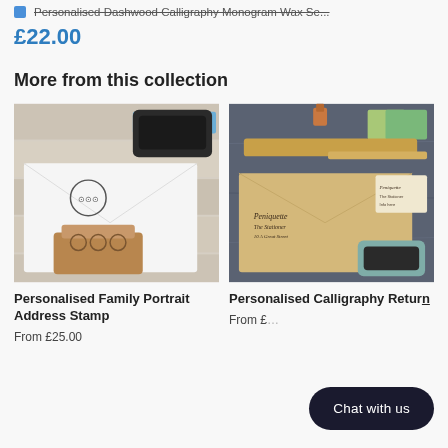Personalised Dashwood Calligraphy Monogram Wax Se...
£22.00
More from this collection
[Figure (photo): Photo of a personalised family portrait address stamp with ink pad and stamped envelope on wooden background]
Personalised Family Portrait Address Stamp
From £25.00
[Figure (photo): Photo of a personalised calligraphy return address stamp set with kraft envelope, ink pad, ruler, binder clip and cards on dark stone background]
Personalised Calligraphy Retur...
From £...
Chat with us